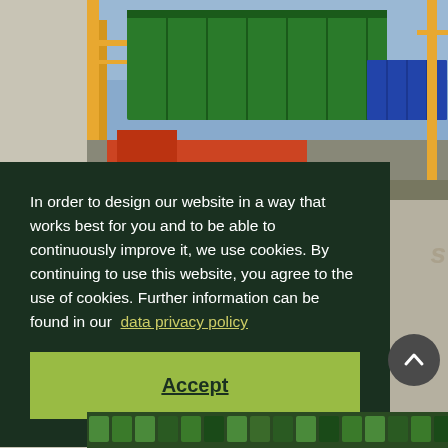[Figure (photo): Photograph of a green shipping container being lifted by port crane equipment, with trucks and orange machinery visible below, at a shipping port.]
In order to design our website in a way that works best for you and to be able to continuously improve it, we use cookies. By continuing to use this website, you agree to the use of cookies. Further information can be found in our  data privacy policy
Accept
[Figure (photo): Bottom strip showing rows of small shipping containers in green and dark colors.]